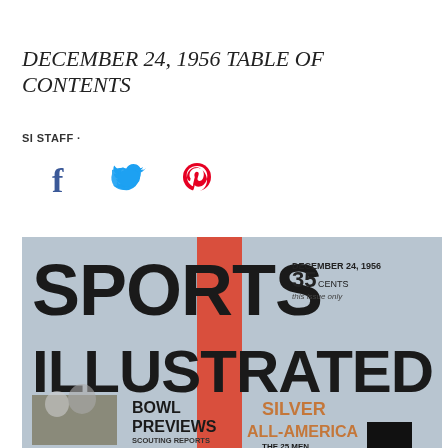DECEMBER 24, 1956 TABLE OF CONTENTS
SI STAFF ·
[Figure (photo): Social media sharing icons: Facebook (f), Twitter (bird), Pinterest (p)]
[Figure (photo): Sports Illustrated magazine cover dated December 24, 1956. Shows large bold text 'SPORTS ILLUSTRATED' with a red vertical stripe. Price shown as 35 cents. Features Bowl Previews with scouting reports with manikins, Silver All-America, and The 25 Men Who Win A... text visible. Small photo of athletes in bottom left.]